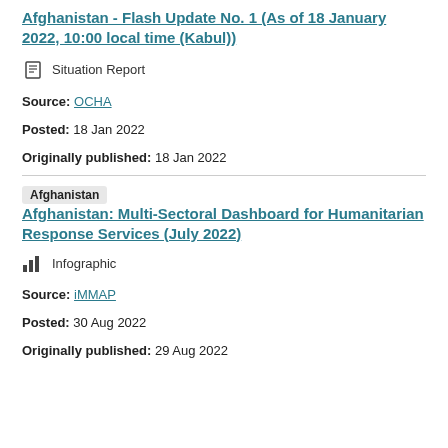Afghanistan - Flash Update No. 1 (As of 18 January 2022, 10:00 local time (Kabul))
Situation Report
Source: OCHA
Posted: 18 Jan 2022
Originally published: 18 Jan 2022
Afghanistan: Multi-Sectoral Dashboard for Humanitarian Response Services (July 2022)
Infographic
Source: iMMAP
Posted: 30 Aug 2022
Originally published: 29 Aug 2022